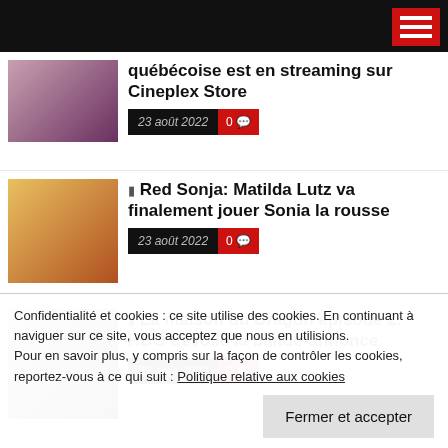québécoise est en streaming sur Cineplex Store
23 août 2022  0
Red Sonja: Matilda Lutz va finalement jouer Sonia la rousse
23 août 2022  0
La maison du Dragon épisode 2: HBO dévoile la bande-annonce
22 août 2022  0
Confidentialité et cookies : ce site utilise des cookies. En continuant à naviguer sur ce site, vous acceptez que nous en utilisions. Pour en savoir plus, y compris sur la façon de contrôler les cookies, reportez-vous à ce qui suit : Politique relative aux cookies
Fermer et accepter
Spotnitz développe une série télé